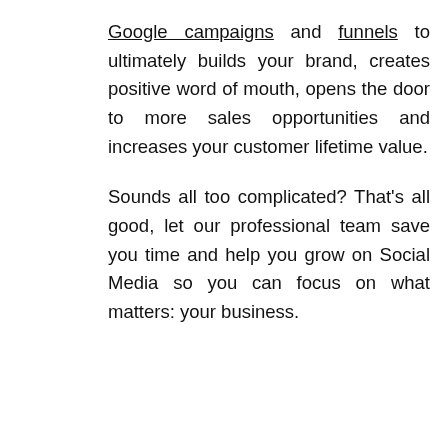Google campaigns and funnels to ultimately builds your brand, creates positive word of mouth, opens the door to more sales opportunities and increases your customer lifetime value.

Sounds all too complicated? That's all good, let our professional team save you time and help you grow on Social Media so you can focus on what matters: your business.